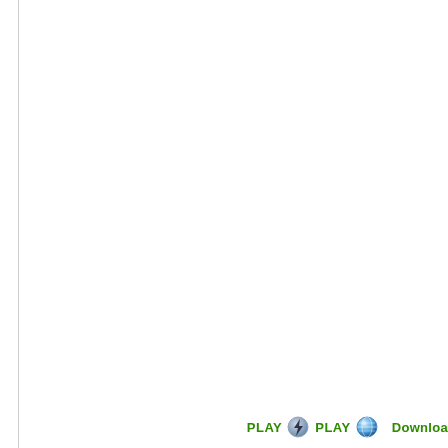[Figure (other): Mostly blank white page with a thin vertical gray line near the left edge, and a bottom bar with PLAY button icons (Flash and Globe/browser icons) and a Download label in green text.]